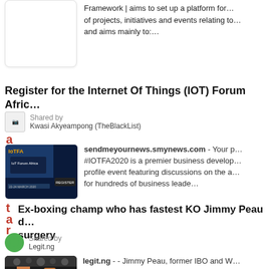Framework | aims to set up a platform for of projects, initiatives and events relating to and aims mainly to:…
Register for the Internet Of Things (IOT) Forum Afric…
Shared by
Kwasi Akyeampong (TheBlackList)
[Figure (screenshot): IoTFA 2020 event banner/registration page thumbnail]
sendmeyournews.smynews.com - Your p… #IOTFA2020 is a premier business develop… profile event featuring discussions on the a… for hundreds of business leade…
Ex-boxing champ who has fastest KO Jimmy Peau d… surgery
Shared by
Legit.ng
[Figure (photo): Two boxers fighting in a boxing ring, crowd in background]
legit.ng - - Jimmy Peau, former IBO and W… has tragically passed away - Peau died at 5… brain surgery, plunging boxing fraternity into…